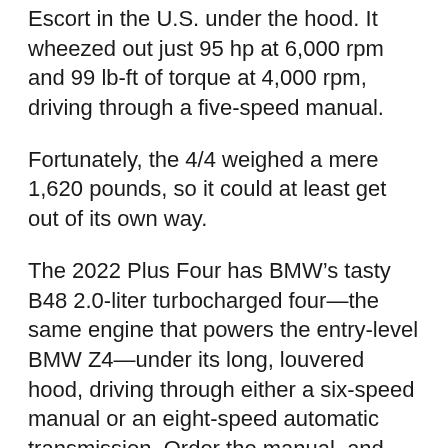Escort in the U.S. under the hood. It wheezed out just 95 hp at 6,000 rpm and 99 lb-ft of torque at 4,000 rpm, driving through a five-speed manual.
Fortunately, the 4/4 weighed a mere 1,620 pounds, so it could at least get out of its own way.
The 2022 Plus Four has BMW’s tasty B48 2.0-liter turbocharged four—the same engine that powers the entry-level BMW Z4—under its long, louvered hood, driving through either a six-speed manual or an eight-speed automatic transmission. Order the manual, and you’ll get 255 hp and 258 lb-ft of torque. Order the auto, and you still get 255 hp, but the torque jumps to 295 lb-ft. That’s quite a step up from that old 4/4—two-and-a-half times the power and two-and-a-half to nearly